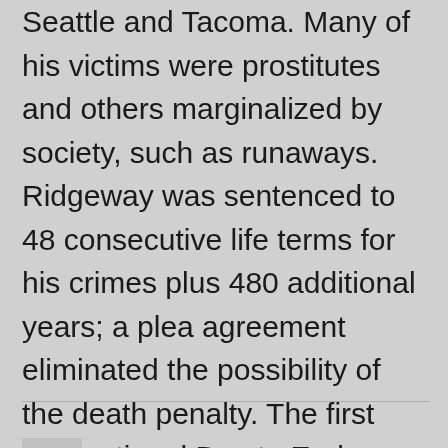Seattle and Tacoma. Many of his victims were prostitutes and others marginalized by society, such as runaways. Ridgeway was sentenced to 48 consecutive life terms for his crimes plus 480 additional years; a plea agreement eliminated the possibility of the death penalty. The first International Day to End Violence against Sex Workers was observed on the day he was sentenced and utilized art as sublimation through the conflicting emotions of relief, grief, anger and fear.